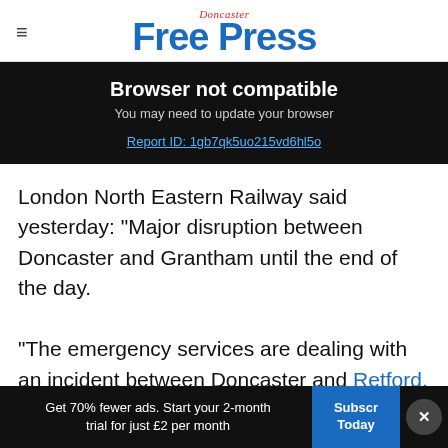Doncaster Free Press
Browser not compatible
You may need to update your browser
Report ID: 1gb7qk5uo215vd6hl5o
London North Eastern Railway said yesterday: “Major disruption between Doncaster and Grantham until the end of the day.

“The emergency services are dealing with an incident between Doncaster and Retford,
Get 70% fewer ads. Start your 2-month trial for just £2 per month   Subscribe Today